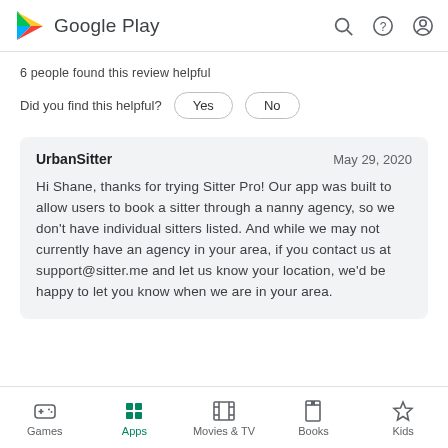Google Play
6 people found this review helpful
Did you find this helpful?  Yes  No
UrbanSitter  May 29, 2020

Hi Shane, thanks for trying Sitter Pro! Our app was built to allow users to book a sitter through a nanny agency, so we don't have individual sitters listed. And while we may not currently have an agency in your area, if you contact us at support@sitter.me and let us know your location, we'd be happy to let you know when we are in your area.
Games  Apps  Movies & TV  Books  Kids